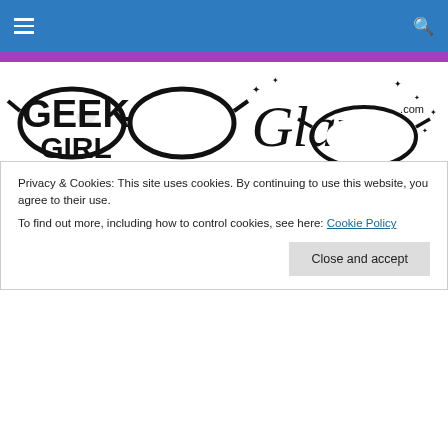Navigation bar with hamburger menu and search icon
[Figure (logo): Geek Girl Goes Glam logo with glasses illustration, black and white text with cursive 'Glam' script]
TAGGED WITH AUNT LIBBY
Happy Father’s Day
“If you are a schoolgirl, flatter your father”  Arlene
Privacy & Cookies: This site uses cookies. By continuing to use this website, you agree to their use.
To find out more, including how to control cookies, see here: Cookie Policy